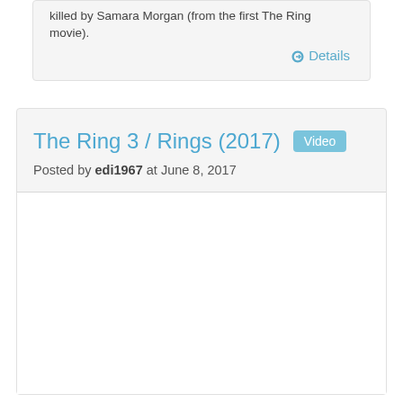killed by Samara Morgan (from the first The Ring movie).
Details
The Ring 3 / Rings (2017)
Posted by edi1967 at June 8, 2017